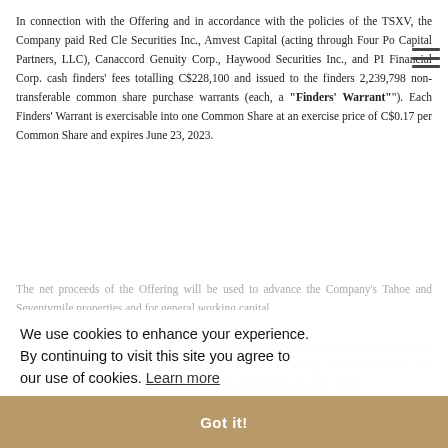In connection with the Offering and in accordance with the policies of the TSXV, the Company paid Red Cle Securities Inc., Amvest Capital (acting through Four Po Capital Partners, LLC), Canaccord Genuity Corp., Haywood Securities Inc., and PI Financial Corp. cash finders' fees totalling C$228,100 and issued to the finders 2,239,798 non-transferable common share purchase warrants (each, a "Finders' Warrant"). Each Finders' Warrant is exercisable into one Common Share at an exercise price of C$0.17 per Common Share and expires June 23, 2023.
The net proceeds of the Offering will be used to advance the Company's Tahoe and Seventymile properties and for general working capital.
...securities issuable pursuant to the Offering are subject to a four-month and one day hold period. The Offering is subject to certain conditions, including, but not limited to, the receipt of all necessary approvals, including the final approval of the TSXV.
We use cookies to enhance your experience. By continuing to visit this site you agree to our use of cookies. Learn more
Got it!